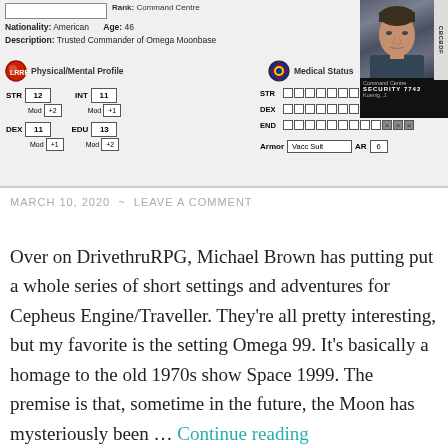[Figure (other): RPG character card for Koenig, J. from Command Centre showing Physical/Mental Profile stats (STR 12, INT 11, DEX 11, EDU 13), Medical Status checkboxes, Armor (Vacc Suit, AR 6), and a security photo badge with SECURITY 7742 number. Nationality: American, Age: 46. Description: Trusted Commander of Omega Moonbase.]
MARCH 10, 2020  ~  LEAVE A COMMENT
Over on DrivethruRPG, Michael Brown has putting put a whole series of short settings and adventures for Cepheus Engine/Traveller. They're all pretty interesting, but my favorite is the setting Omega 99. It's basically a homage to the old 1970s show Space 1999. The premise is that, sometime in the future, the Moon has mysteriously been … Continue reading